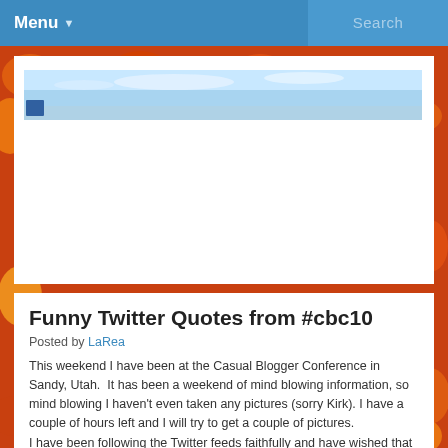Menu ▼   Search
[Figure (screenshot): Website banner screenshot showing a blue sky panoramic image with a small logo on the left]
Funny Twitter Quotes from #cbc10
Posted by LaRea
This weekend I have been at the Casual Blogger Conference in Sandy, Utah.  It has been a weekend of mind blowing information, so mind blowing I haven't even taken any pictures (sorry Kirk). I have a couple of hours left and I will try to get a couple of pictures.
I have been following the Twitter feeds faithfully and have wished that I could have attended all of the classes. I have heard that they are going